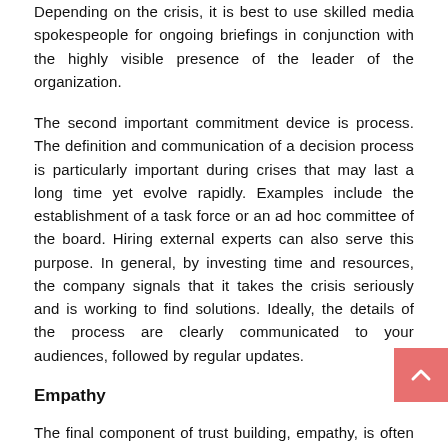Depending on the crisis, it is best to use skilled media spokespeople for ongoing briefings in conjunction with the highly visible presence of the leader of the organization.
The second important commitment device is process. The definition and communication of a decision process is particularly important during crises that may last a long time yet evolve rapidly. Examples include the establishment of a task force or an ad hoc committee of the board. Hiring external experts can also serve this purpose. In general, by investing time and resources, the company signals that it takes the crisis seriously and is working to find solutions. Ideally, the details of the process are clearly communicated to your audiences, followed by regular updates.
Empathy
The final component of trust building, empathy, is often the most important factor of the four and the easiest to miss. Showing empathy is not the same thing as apologizing.